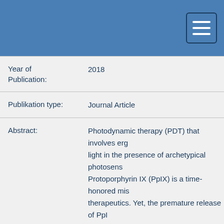| Field | Value |
| --- | --- |
| Year of Publication: | 2018 |
| Publikation type: | Journal Article |
| Abstract: | Photodynamic therapy (PDT) that involves erg light in the presence of archetypical photosens Protoporphyrin IX (PpIX) is a time-honored mis therapeutics. Yet, the premature release of Ppl abundant dilemma encounters the therapeutic to associated toxicity and redistribution to seru study, ultrastable tetraether lipids (TELs) base developed. PpIX molecules were identified to m monolayer; thereby the inherent π-π stacking t aggregation of PpIX in aqueous milieu was dra TEL29.9 mol% and TEL62mol% based liposom sustained release diffusion pattern from spheri confirmed by converged fitting to Baker & Lons presence of human serum albumins, a key ele |